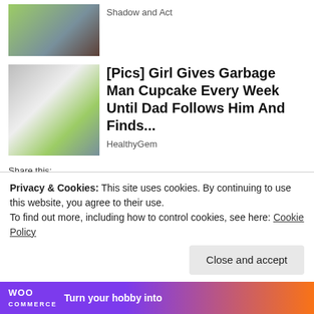[Figure (photo): Thumbnail image at top, partially visible person outdoors]
Shadow and Act
[Figure (photo): Man and young girl with pink bow smiling outdoors]
[Pics] Girl Gives Garbage Man Cupcake Every Week Until Dad Follows Him And Finds...
HealthyGem
Share this:
Tweet
Save
114
Like
[Figure (photo): Strip of small thumbnail images]
Privacy & Cookies: This site uses cookies. By continuing to use this website, you agree to their use.
To find out more, including how to control cookies, see here: Cookie Policy
Close and accept
Turn your hobby into